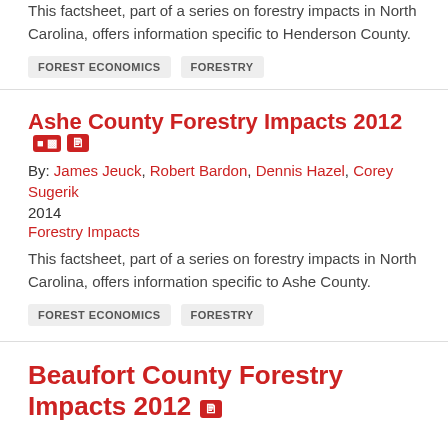This factsheet, part of a series on forestry impacts in North Carolina, offers information specific to Henderson County.
FOREST ECONOMICS
FORESTRY
Ashe County Forestry Impacts 2012
By: James Jeuck, Robert Bardon, Dennis Hazel, Corey Sugerik
2014
Forestry Impacts
This factsheet, part of a series on forestry impacts in North Carolina, offers information specific to Ashe County.
FOREST ECONOMICS
FORESTRY
Beaufort County Forestry Impacts 2012